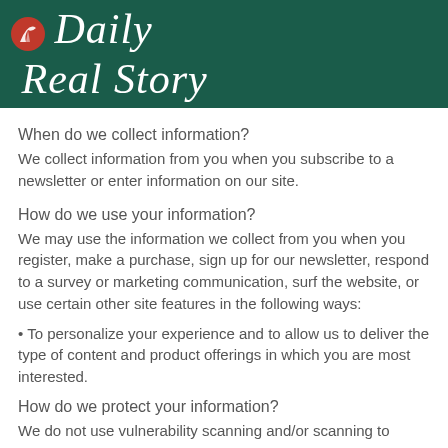[Figure (logo): Daily Real Story logo with red quill icon on dark green background, italic serif white text]
When do we collect information?
We collect information from you when you subscribe to a newsletter or enter information on our site.
How do we use your information?
We may use the information we collect from you when you register, make a purchase, sign up for our newsletter, respond to a survey or marketing communication, surf the website, or use certain other site features in the following ways:
• To personalize your experience and to allow us to deliver the type of content and product offerings in which you are most interested.
How do we protect your information?
We do not use vulnerability scanning and/or scanning to